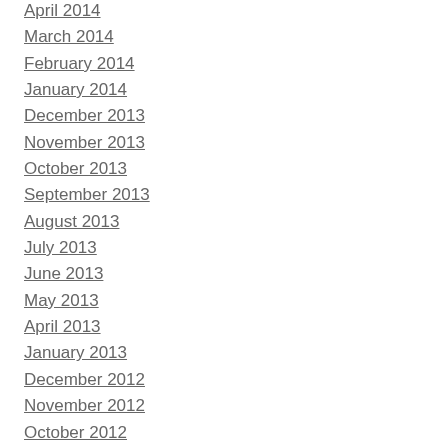April 2014
March 2014
February 2014
January 2014
December 2013
November 2013
October 2013
September 2013
August 2013
July 2013
June 2013
May 2013
April 2013
January 2013
December 2012
November 2012
October 2012
September 2012
August 2012